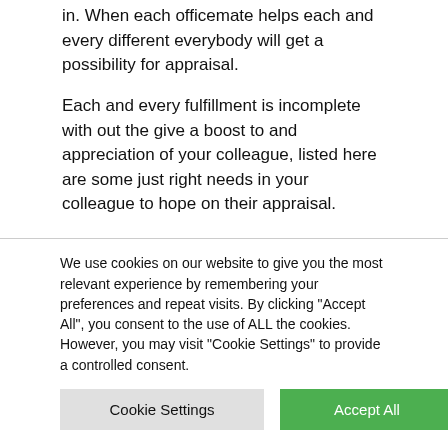in. When each officemate helps each and every different everybody will get a possibility for appraisal.
Each and every fulfillment is incomplete with out the give a boost to and appreciation of your colleague, listed here are some just right needs in your colleague to hope on their appraisal.
23. Stick with it, you simply chased what you labored for.
We use cookies on our website to give you the most relevant experience by remembering your preferences and repeat visits. By clicking "Accept All", you consent to the use of ALL the cookies. However, you may visit "Cookie Settings" to provide a controlled consent.
Cookie Settings | Accept All